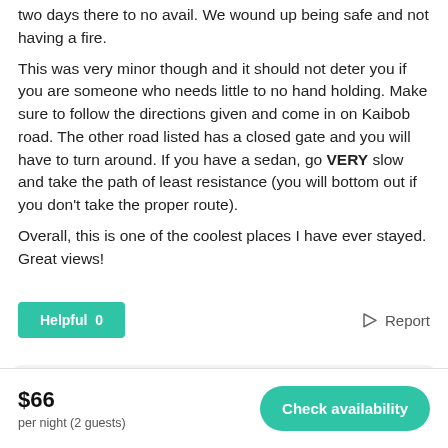two days there to no avail. We wound up being safe and not having a fire.
This was very minor though and it should not deter you if you are someone who needs little to no hand holding. Make sure to follow the directions given and come in on Kaibob road. The other road listed has a closed gate and you will have to turn around. If you have a sedan, go VERY slow and take the path of least resistance (you will bottom out if you don't take the proper route).
Overall, this is one of the coolest places I have ever stayed. Great views!
Helpful  0
Report
Response from Tre on Apr 13 2022
$66
per night (2 guests)
Check availability